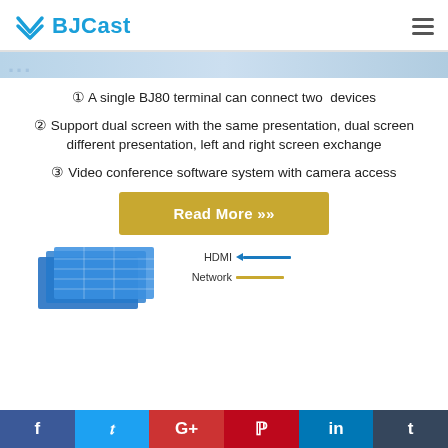BJCast
[Figure (illustration): Partial banner strip with faded text showing partial heading content]
① A single BJ80 terminal can connect two devices
② Support dual screen with the same presentation, dual screen different presentation, left and right screen exchange
③ Video conference software system with camera access
[Figure (illustration): Read More button in gold/yellow color with double chevron]
[Figure (engineering-diagram): Bottom partial diagram showing a blue device with HDMI and Network legend lines]
f  t  G+  p  in  t  (social share bar)